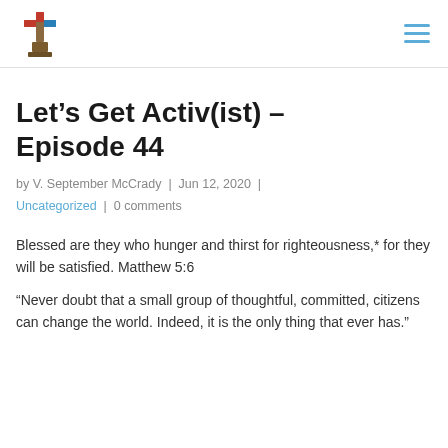[Logo] [Hamburger menu]
Let’s Get Activ(ist) – Episode 44
by V. September McCrady | Jun 12, 2020 | Uncategorized | 0 comments
Blessed are they who hunger and thirst for righteousness,* for they will be satisfied. Matthew 5:6
“Never doubt that a small group of thoughtful, committed, citizens can change the world. Indeed, it is the only thing that ever has.”